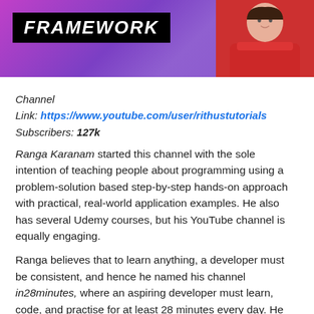[Figure (photo): Banner image with 'FRAMEWORK' text in bold italic white on black background, purple gradient background, and a person in a red t-shirt on the right side]
Channel
Link: https://www.youtube.com/user/rithustutorials
Subscribers: 127k
Ranga Karanam started this channel with the sole intention of teaching people about programming using a problem-solution based step-by-step hands-on approach with practical, real-world application examples. He also has several Udemy courses, but his YouTube channel is equally engaging.
Ranga believes that to learn anything, a developer must be consistent, and hence he named his channel in28minutes, where an aspiring developer must learn, code, and practise for at least 28 minutes every day. He also has a lot of DevOps and Cloud related courses along with several Java and its related frameworks.